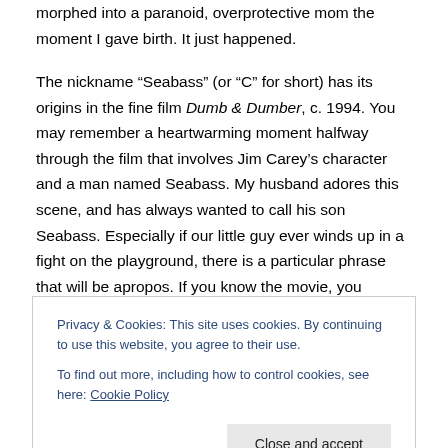morphed into a paranoid, overprotective mom the moment I gave birth.  It just happened.
The nickname “Seabass” (or “C” for short) has its origins in the fine film Dumb & Dumber, c. 1994.  You may remember a heartwarming moment halfway through the film that involves Jim Carey’s character and a man named Seabass.  My husband adores this scene, and has always wanted to call his son Seabass.  Especially if our little guy ever winds up in a fight on the playground, there is a particular phrase that will be apropos.   If you know the movie, you understand.
Privacy & Cookies: This site uses cookies. By continuing to use this website, you agree to their use.
To find out more, including how to control cookies, see here: Cookie Policy